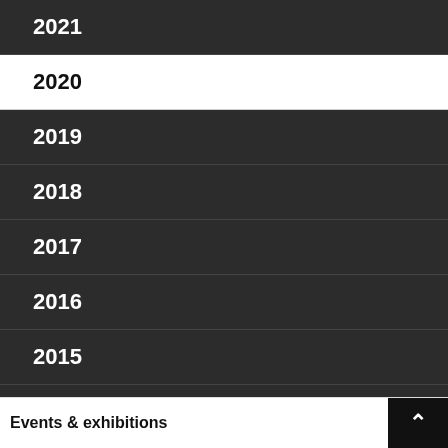2021
2020
2019
2018
2017
2016
2015
2014
2013
Events & exhibitions